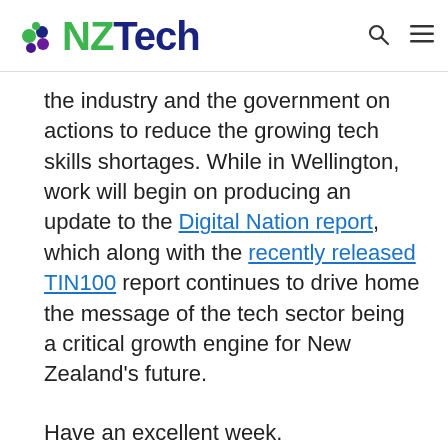NZTech
the industry and the government on actions to reduce the growing tech skills shortages. While in Wellington, work will begin on producing an update to the Digital Nation report, which along with the recently released TIN100 report continues to drive home the message of the tech sector being a critical growth engine for New Zealand's future.

Have an excellent week.
All the best
Graeme